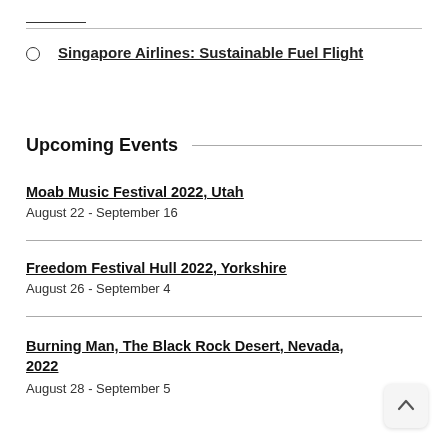Singapore Airlines: Sustainable Fuel Flight
Upcoming Events
Moab Music Festival 2022, Utah
August 22 - September 16
Freedom Festival Hull 2022, Yorkshire
August 26 - September 4
Burning Man, The Black Rock Desert, Nevada, 2022
August 28 - September 5